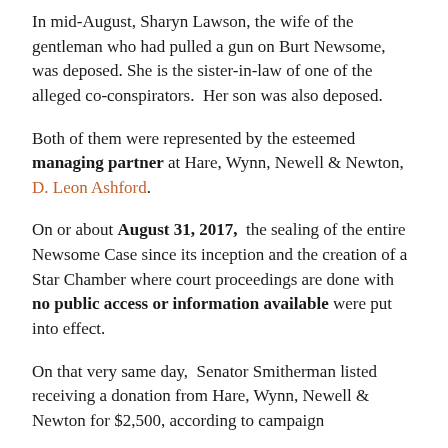In mid-August, Sharyn Lawson, the wife of the gentleman who had pulled a gun on Burt Newsome, was deposed. She is the sister-in-law of one of the alleged co-conspirators.  Her son was also deposed.
Both of them were represented by the esteemed managing partner at Hare, Wynn, Newell & Newton, D. Leon Ashford.
On or about August 31, 2017,  the sealing of the entire Newsome Case since its inception and the creation of a Star Chamber where court proceedings are done with no public access or information available were put into effect.
On that very same day,  Senator Smitherman listed receiving a donation from Hare, Wynn, Newell & Newton for $2,500, according to campaign